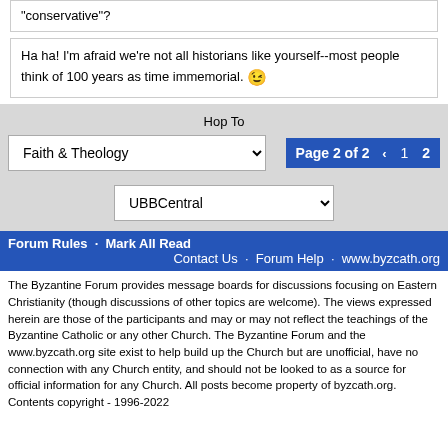"conservative"?
Ha ha! I'm afraid we're not all historians like yourself--most people think of 100 years as time immemorial. 😉
Hop To
Faith & Theology
Page 2 of 2   ‹   1   2
UBBCentral
Forum Rules · Mark All Read
Contact Us · Forum Help · www.byzcath.org
The Byzantine Forum provides message boards for discussions focusing on Eastern Christianity (though discussions of other topics are welcome). The views expressed herein are those of the participants and may or may not reflect the teachings of the Byzantine Catholic or any other Church. The Byzantine Forum and the www.byzcath.org site exist to help build up the Church but are unofficial, have no connection with any Church entity, and should not be looked to as a source for official information for any Church. All posts become property of byzcath.org. Contents copyright - 1996-2022